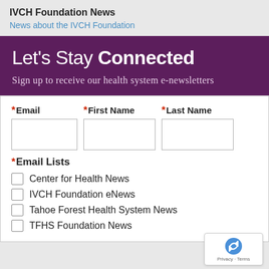IVCH Foundation News
News about the IVCH Foundation
Let's Stay Connected
Sign up to receive our health system e-newsletters
* Email  * First Name  * Last Name
* Email Lists
Center for Health News
IVCH Foundation eNews
Tahoe Forest Health System News
TFHS Foundation News